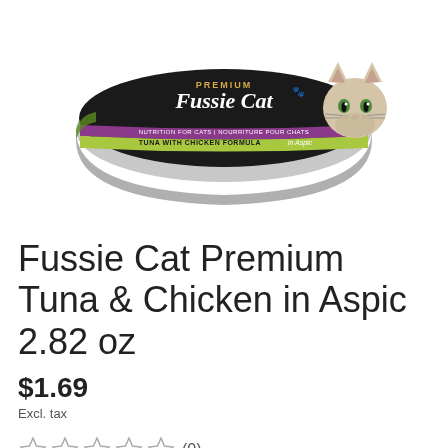[Figure (photo): A can of Fussie Cat Premium Tuna with Chicken Formula in Aspic cat food, viewed from the top at a slight angle. The can has a black label with 'PREMIUM Fussie Cat' branding and a purple/green band showing 'TUNA WITH CHICKEN FORMULA in Aspic'. A fluffy grey cat is visible on the right side of the can.]
Fussie Cat Premium Tuna & Chicken in Aspic 2.82 oz
$1.69
Excl. tax
☆☆☆☆☆ (0)